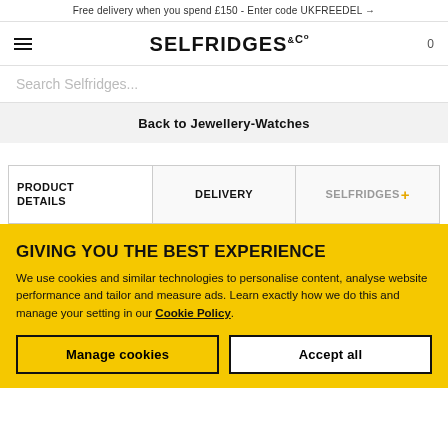Free delivery when you spend £150 - Enter code UKFREEDEL →
[Figure (logo): Selfridges & Co logo with hamburger menu and cart icon]
Search Selfridges...
Back to Jewellery-Watches
| PRODUCT DETAILS | DELIVERY | SELFRIDGES+ |
| --- | --- | --- |
GIVING YOU THE BEST EXPERIENCE
We use cookies and similar technologies to personalise content, analyse website performance and tailor and measure ads. Learn exactly how we do this and manage your setting in our Cookie Policy.
Manage cookies
Accept all